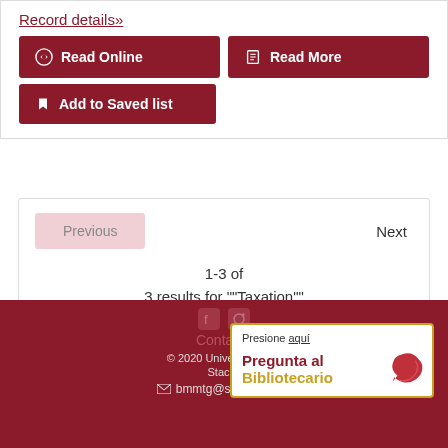Record details»
Read Online
Read More
Add to Saved list
Previous
Next
1-3 of
3 results for ""Taxation""
Contacto
© 2020 Universidad del
Stacks
bmmtg@sagrado.edu
Presione aqui
Pregunta al Bibliotecario